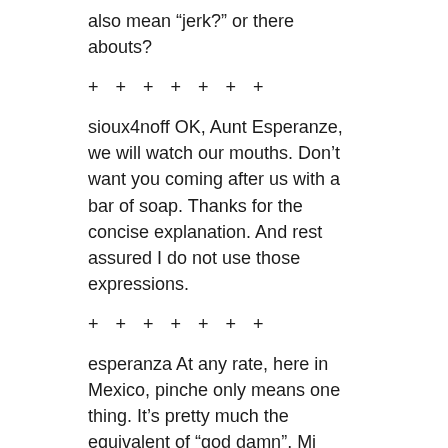also mean “jerk?” or there abouts?
+ + + + + + +
sioux4noff OK, Aunt Esperanze, we will watch our mouths. Don’t want you coming after us with a bar of soap. Thanks for the concise explanation. And rest assured I do not use those expressions.
+ + + + + + +
esperanza At any rate, here in Mexico, pinche only means one thing. It’s pretty much the equivalent of “god damn”. Mi pinche suegra (my gd mother-in-law), la pinche CFE (the gd electric company).
Pinche is another word that you don’t say in polite society.
NOTE: I have been reminded that pinche also means lowest-rung-on-the-ladder kitchen assistant.